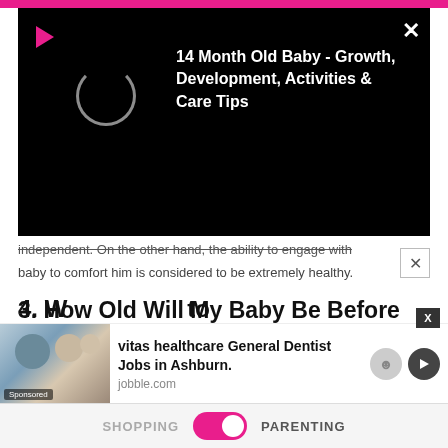[Figure (screenshot): Black video player overlay with pink play icon, loading circle, and white title text '14 Month Old Baby - Growth, Development, Activities & Care Tips']
independent. On the other hand, the ability to engage with baby to comfort him is considered to be extremely healthy.
3. How Old Will My Baby Be Before She Learns to Soothe Herself?
The ability to self-soothe depends largely on the personality of the baby. While some babies are born with good self-soothing skills, others may take time to learn the skill.
[Figure (screenshot): Sponsored ad for 'vitas healthcare General Dentist Jobs in Ashburn.' from jobble.com with a photo of medical professionals]
4. W... to
SHOPPING   PARENTING